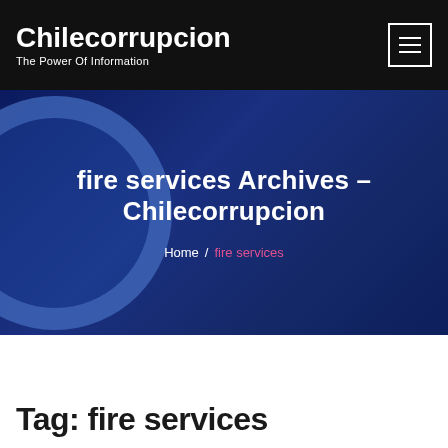Chilecorrupcion – The Power Of Information
fire services Archives – Chilecorrupcion
Home / fire services
Tag: fire services